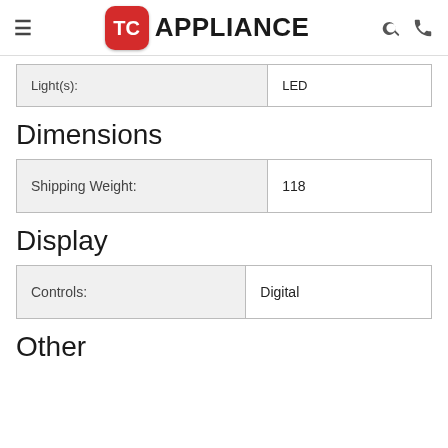TC APPLIANCE
| Light(s): | LED |
Dimensions
| Shipping Weight: | 118 |
Display
| Controls: | Digital |
Other